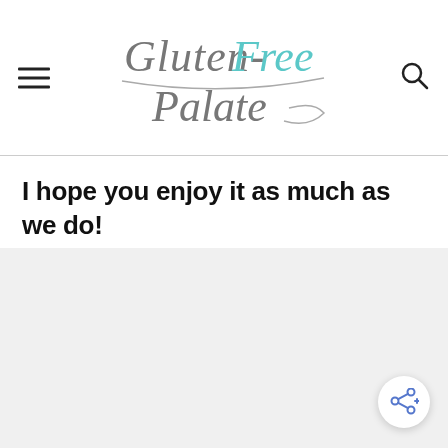Gluten-Free Palate
I hope you enjoy it as much as we do!
[Figure (photo): Placeholder image area with light gray background]
[Figure (other): Share button with share icon and plus sign in bottom right corner]